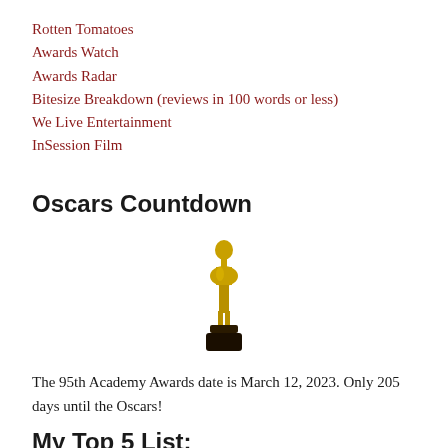Rotten Tomatoes
Awards Watch
Awards Radar
Bitesize Breakdown (reviews in 100 words or less)
We Live Entertainment
InSession Film
Oscars Countdown
[Figure (illustration): Gold Oscar statuette on a dark pedestal base]
The 95th Academy Awards date is March 12, 2023. Only 205 days until the Oscars!
My Top 5 List: